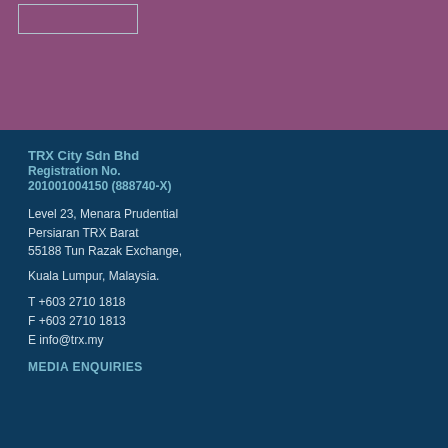[Figure (other): Logo placeholder box in upper left of purple section]
TRX City Sdn Bhd
Registration No.
201001004150 (888740-X)
Level 23, Menara Prudential
Persiaran TRX Barat
55188 Tun Razak Exchange,
Kuala Lumpur, Malaysia.
T +603 2710 1818
F +603 2710 1813
E info@trx.my
MEDIA ENQUIRIES